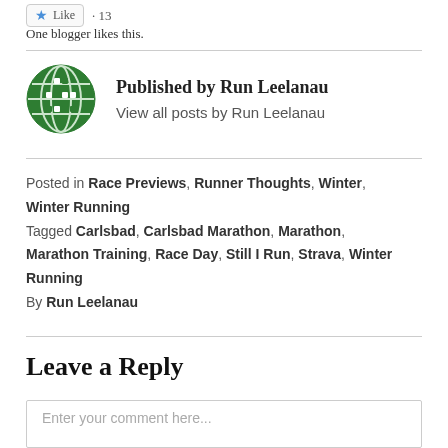Like · 13
One blogger likes this.
Published by Run Leelanau
View all posts by Run Leelanau
Posted in Race Previews, Runner Thoughts, Winter, Winter Running
Tagged Carlsbad, Carlsbad Marathon, Marathon, Marathon Training, Race Day, Still I Run, Strava, Winter Running
By Run Leelanau
Leave a Reply
Enter your comment here...